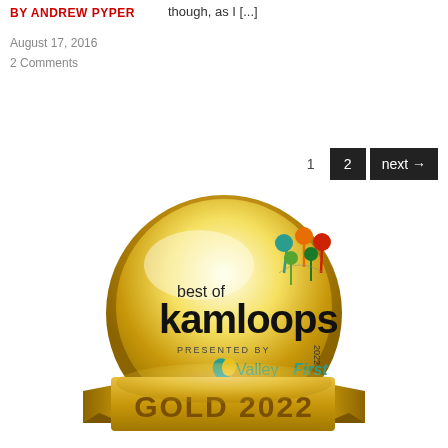BY ANDREW PYPER
though, as I [...]
August 17, 2016
2 Comments
1  2  next →
[Figure (logo): Best of Kamloops 2022 Gold award badge presented by Valley First. Gold circular medal shape with a banner reading GOLD 2022.]